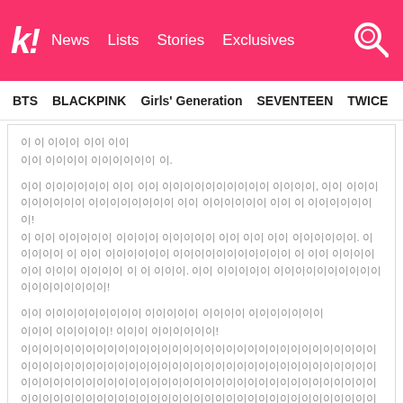k! News Lists Stories Exclusives
BTS   BLACKPINK   Girls' Generation   SEVENTEEN   TWICE
Korean text comment lines
view all 2,042 comments
Add a comment...
Share This Post